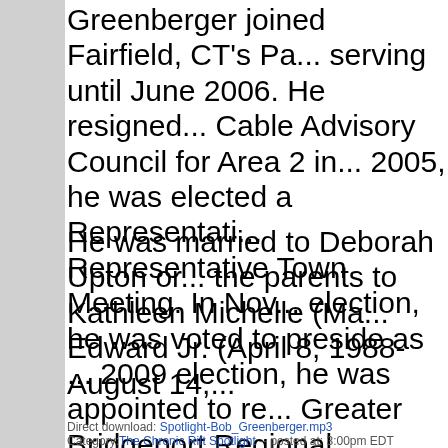Greenberger joined Fairfield, CT's Pa... serving until June 2006. He resigned... Cable Advisory Council for Area 2 in... 2005, he was elected a Representati... Representative Town Meeting. In Nov... election, he was voted to preside as ... 2009 election, he was appointed to re... Greater Bridgeport Regional Planning...
He was married to Deborah Upton or... the parents to Kathleen Michelle (Ma... Edward Jr. (April 8, 1988-August 14,...
Direct download: Spotlight-Bob_Greenberger.mp3
Category: The Chronic Rift Spotlight -- posted at: 3:00pm EDT
Fri, 2 November 2012
The Chronic Rift Spotlight: 100 Rogues
John and Andrea are hooked (addicted) to a new dungeon crawl style iPhone/iPa... play a Crusader or a Fairy Wizard trying to clear a dungeon of the bandits that in... confrontation with Satan himself.
The two got to spend a little time talking about the game with developer and prog... explained some of the more offbeat creatures you can expect to find in this extro...